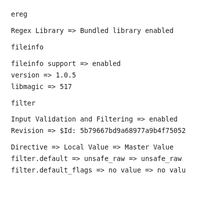ereg
Regex Library => Bundled library enabled
fileinfo
fileinfo support => enabled
version => 1.0.5
libmagic => 517
filter
Input Validation and Filtering => enabled
Revision => $Id: 5b79667bd9a68977a9b4f75052
Directive => Local Value => Master Value
filter.default => unsafe_raw => unsafe_raw
filter.default_flags => no value => no valu